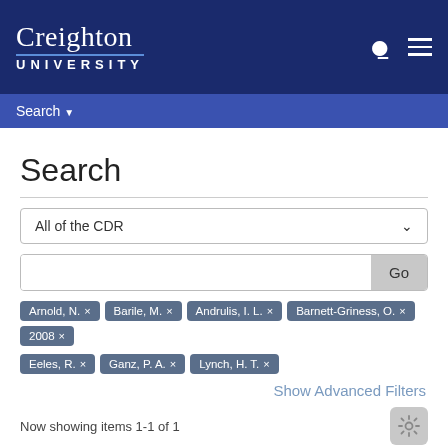Creighton UNIVERSITY
Search ▾
Search
All of the CDR
Go
Arnold, N. ×
Barile, M. ×
Andrulis, I. L. ×
Barnett-Griness, O. ×
2008 ×
Eeles, R. ×
Ganz, P. A. ×
Lynch, H. T. ×
Show Advanced Filters
Now showing items 1-1 of 1